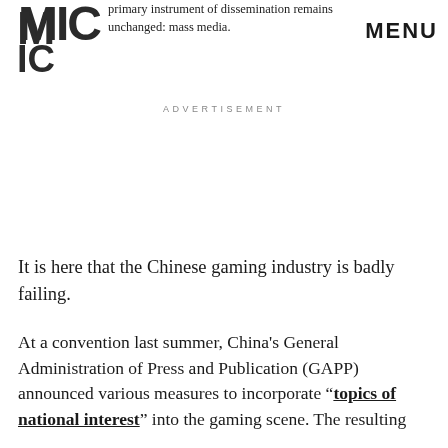primary instrument of dissemination remains unchanged: mass media.
[Figure (logo): MIC logo — bold block letters 'MIC' stacked vertically in dark grey/black]
MENU
ADVERTISEMENT
It is here that the Chinese gaming industry is badly failing.
At a convention last summer, China's General Administration of Press and Publication (GAPP) announced various measures to incorporate "topics of national interest" into the gaming scene. The resulting